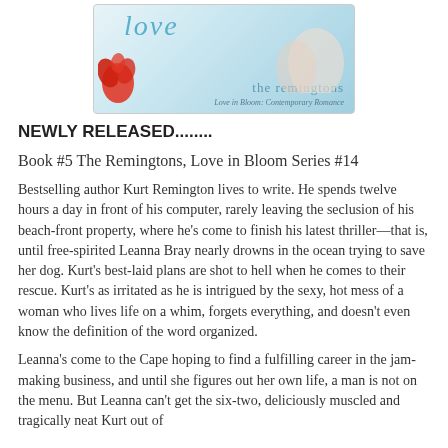[Figure (illustration): Book cover image for a romance novel in 'the remingtons' series, Love in Bloom Contemporary Romance, showing teal/blue design with red flower on left and hands on right]
NEWLY RELEASED........
Book #5 The Remingtons, Love in Bloom Series #14
Bestselling author Kurt Remington lives to write. He spends twelve hours a day in front of his computer, rarely leaving the seclusion of his beach-front property, where he's come to finish his latest thriller—that is, until free-spirited Leanna Bray nearly drowns in the ocean trying to save her dog. Kurt's best-laid plans are shot to hell when he comes to their rescue. Kurt's as irritated as he is intrigued by the sexy, hot mess of a woman who lives life on a whim, forgets everything, and doesn't even know the definition of the word organized.
Leanna's come to the Cape hoping to find a fulfilling career in the jam-making business, and until she figures out her own life, a man is not on the menu. But Leanna can't get the six-two, deliciously muscled and tragically neat Kurt out of